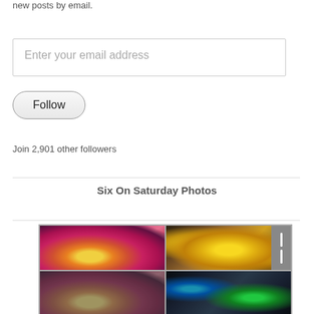new posts by email.
Enter your email address
Follow
Join 2,901 other followers
Six On Saturday Photos
[Figure (photo): A grid of four flower photos showing pink and yellow primroses along with other garden plants]